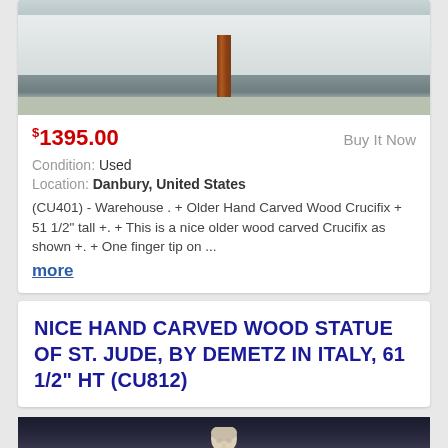[Figure (photo): Top portion of a product listing showing an outdoor photo of a rusty pole/crucifix against a white wall with concrete ground]
$1395.00
Buy It Now
Condition: Used
Location: Danbury, United States
(CU401) - Warehouse . + Older Hand Carved Wood Crucifix + 51 1/2" tall +. + This is a nice older wood carved Crucifix as shown +. + One finger tip on ...
more
NICE HAND CARVED WOOD STATUE OF ST. JUDE, BY DEMETZ IN ITALY, 61 1/2" HT (CU812)
[Figure (photo): Bottom portion showing a white stone or plaster statue of St. Jude against a dark background]